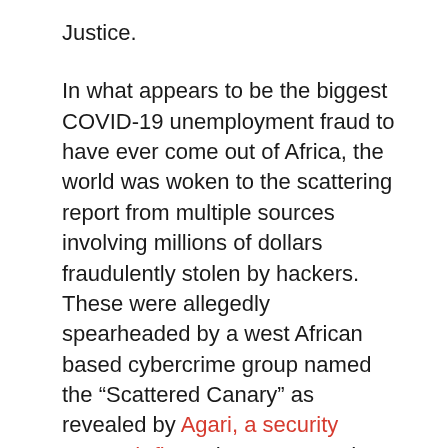Justice.
In what appears to be the biggest COVID-19 unemployment fraud to have ever come out of Africa, the world was woken to the scattering report from multiple sources involving millions of dollars fraudulently stolen by hackers. These were allegedly spearheaded by a west African based cybercrime group named the “Scattered Canary” as revealed by Agari, a security research firm. The group used stolen identities from a previous consumer data breach.
The COVID-19 unemployment fraud was reported by Seattletimes and other local media outlets. But, Agari’s Cyber Intelligence Division (ACID) has been trailing and investigating the cybercriminal group